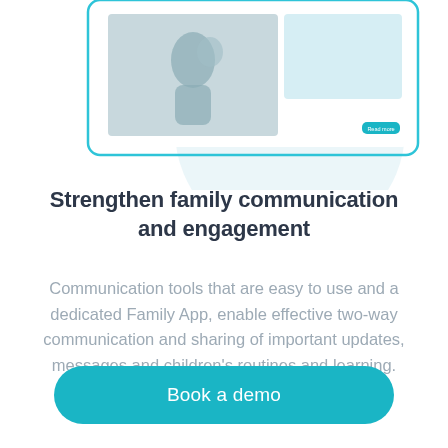[Figure (illustration): Top portion of a tablet/browser interface mockup showing a photo of a person carrying a child outdoors, with a light blue circle background shape behind it. A small teal button is visible in the bottom right of the interface panel.]
Strengthen family communication and engagement
Communication tools that are easy to use and a dedicated Family App, enable effective two-way communication and sharing of important updates, messages and children’s routines and learning.
Book a demo